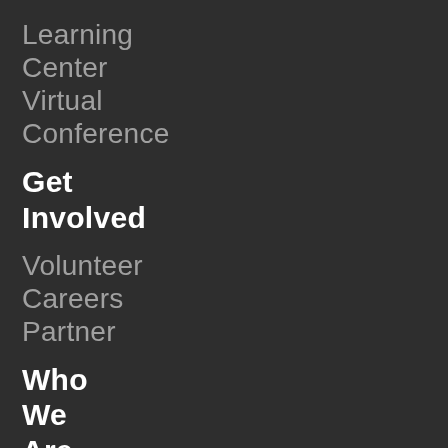Learning
Center
Virtual
Conference
Get Involved
Volunteer
Careers
Partner
Who We Are
Mission & Values